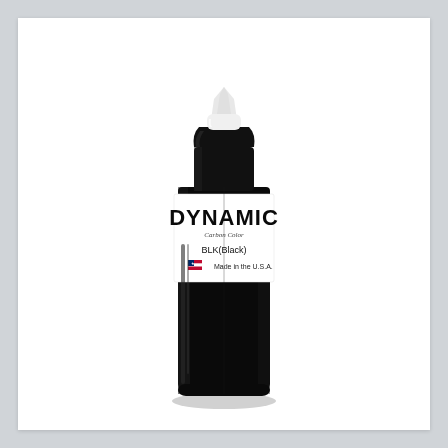[Figure (photo): A bottle of Dynamic tattoo ink, black color. The bottle is a tall squeeze bottle with a white pointed tip cap. The body of the bottle is black/dark with a white label in the middle reading 'DYNAMIC' in large bold letters, 'Carbon Color' in smaller italic text, 'BLK(Black)' in medium text, and a US flag icon with 'Made in the U.S.A.' text below.]